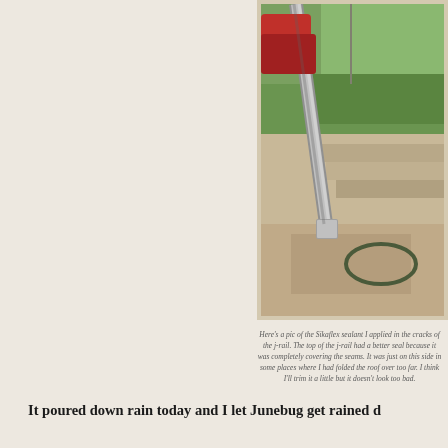[Figure (photo): Outdoor photo showing a metal j-rail/downspout along a post or wall, with concrete steps, green grass, and a car visible in the background. Sikaflex sealant applied in the cracks.]
Here's a pic of the Sikaflex sealant I applied in the cracks of the j-rail. The top of the j-rail had a better seal because it was completely covering the seams. It was just on this side in some places where I had folded the roof over too far. I think I'll trim it a little but it doesn't look too bad.
It poured down rain today and I let Junebug get rained d